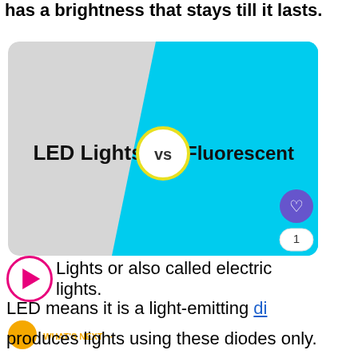has a brightness that stays till it lasts.
[Figure (infographic): Infographic comparing LED Lights vs Fluorescent lighting. Left side is light gray with text 'LED Lights', right side is cyan/turquoise with text 'Fluorescent', center has a circle with 'vs' in yellow border. A heart icon and share icon are visible on the right side. A like count of 1 is shown.]
Lights or also called electric lights.
LED means it is a light-emitting di
produces lights using these diodes only.